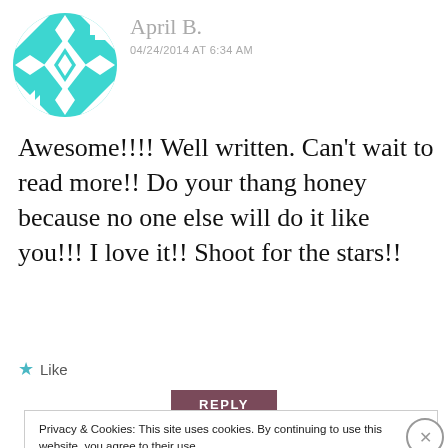[Figure (illustration): Circular avatar with teal/turquoise geometric diamond and arrow pattern on white background]
April B.
04/24/2014 AT 6:34 AM
Awesome!!!! Well written. Can't wait to read more!! Do your thang honey because no one else will do it like you!!! I love it!! Shoot for the stars!!
★ Like
REPLY
Privacy & Cookies: This site uses cookies. By continuing to use this website, you agree to their use.
To find out more, including how to control cookies, see here: Cookie Policy
Close and accept